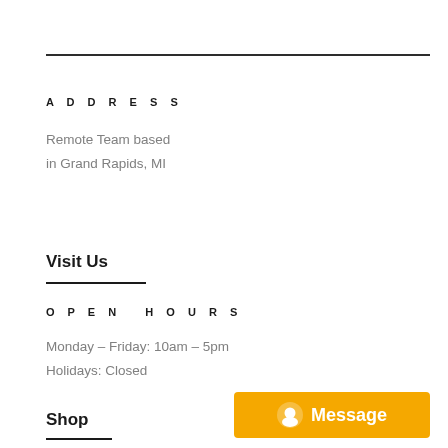ADDRESS
Remote Team based
in Grand Rapids, MI
Visit Us
OPEN HOURS
Monday – Friday: 10am – 5pm
Holidays: Closed
Shop